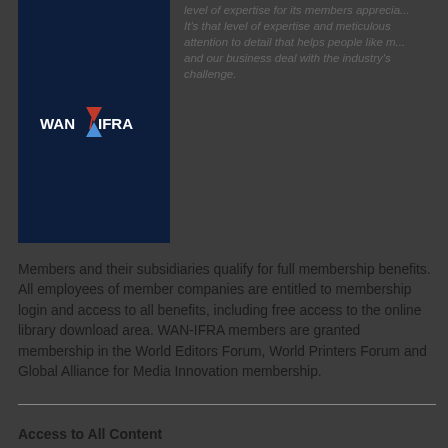[Figure (logo): WAN-IFRA logo on dark navy background]
level of expertise for its members apprecia... It's that level of expertise and meticulous attention to detail that helps people like m... and our business deal with the industry's challenge.
Members and their subsidiaries qualify for full membership benefits. All employees of member companies are entitled to membership login and access to all benefits, including free access to the online library download area. WAN-IFRA members are granted membership in the World Editors Forum, World Printers Forum and Global Alliance for Media Innovation membership.
| Benefit | Non-members | Members |
| --- | --- | --- |
| Access to All Content |  |  |